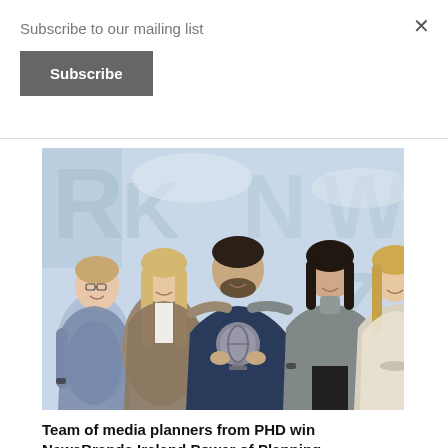Subscribe to our mailing list
Subscribe
[Figure (photo): Five people standing together posing for a photo in front of a branded backdrop with letters visible. The person in the center is holding a circular award trophy. The group consists of four women and one man. They are smiling.]
Team of media planners from PHD win NewsBrands Ireland Power of Planning competition 2022